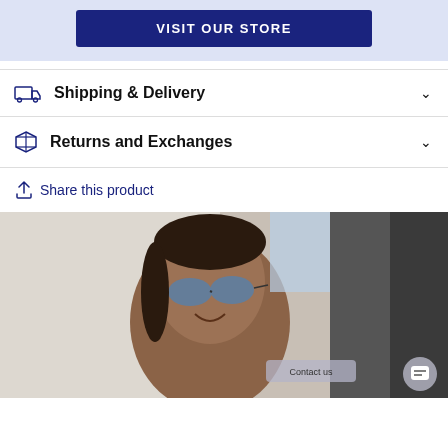[Figure (other): Visit Our Store button on a light blue/lavender banner background]
Shipping & Delivery
Returns and Exchanges
Share this product
[Figure (photo): Person wearing blue reflective sunglasses, smiling, looking upward. Photo with dark object partially visible on the right. Contact us button and chat bubble visible at the bottom right.]